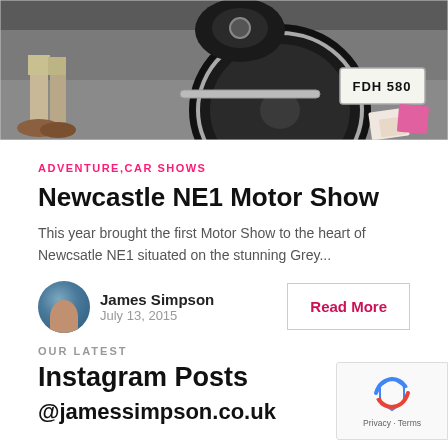[Figure (photo): Top portion of a vintage/classic black motorcycle or car with license plate FDH 580, on a grey asphalt surface with a person's feet visible on the left]
ADVENTURE,CAR SHOWS
Newcastle NE1 Motor Show
This year brought the first Motor Show to the heart of Newcsatle NE1 situated on the stunning Grey...
James Simpson
July 13, 2015
Read More
OUR LATEST
Instagram Posts
@jamessimpson.co.uk